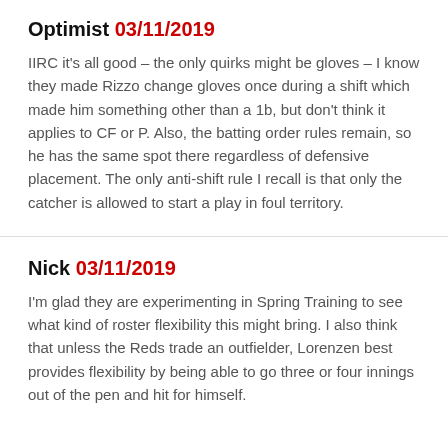Optimist 03/11/2019
IIRC it's all good – the only quirks might be gloves – I know they made Rizzo change gloves once during a shift which made him something other than a 1b, but don't think it applies to CF or P. Also, the batting order rules remain, so he has the same spot there regardless of defensive placement. The only anti-shift rule I recall is that only the catcher is allowed to start a play in foul territory.
Nick 03/11/2019
I'm glad they are experimenting in Spring Training to see what kind of roster flexibility this might bring. I also think that unless the Reds trade an outfielder, Lorenzen best provides flexibility by being able to go three or four innings out of the pen and hit for himself.